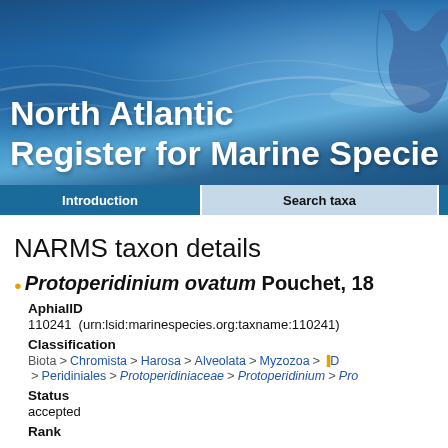[Figure (photo): North Atlantic Register for Marine Species website banner with ocean/whale tail background image and white bold text reading 'North Atlantic Register for Marine Species']
Introduction | Search taxa
NARMS taxon details
Protoperidinium ovatum Pouchet, 18...
AphialID
110241  (urn:lsid:marinespecies.org:taxname:110241)
Classification
Biota > Chromista > Harosa > Alveolata > Myzozoa > D... > Peridiniales > Protoperidiniaceae > Protoperidinium > Pro...
Status
accepted
Rank